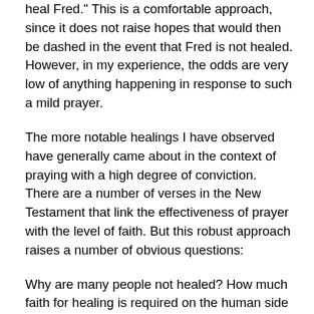heal Fred." This is a comfortable approach, since it does not raise hopes that would then be dashed in the event that Fred is not healed. However, in my experience, the odds are very low of anything happening in response to such a mild prayer.
The more notable healings I have observed have generally came about in the context of praying with a high degree of conviction. There are a number of verses in the New Testament that link the effectiveness of prayer with the level of faith. But this robust approach raises a number of obvious questions:
Why are many people not healed? How much faith for healing is required on the human side of the equation, and how can such faith be increased? Is it unkind to build up too much hope in the people seeking healing? Does